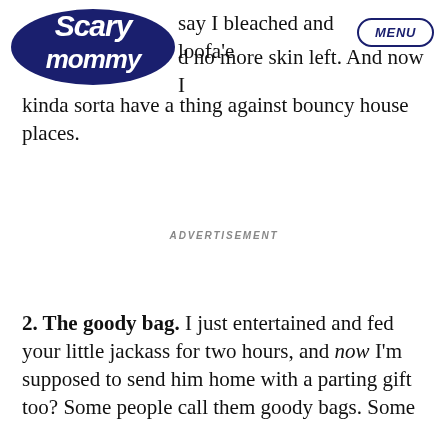Scary Mommy | MENU
say I bleached and loofa'ed no more skin left. And now I kinda sorta have a thing against bouncy house places.
ADVERTISEMENT
2. The goody bag. I just entertained and fed your little jackass for two hours, and now I'm supposed to send him home with a parting gift too? Some people call them goody bags. Some